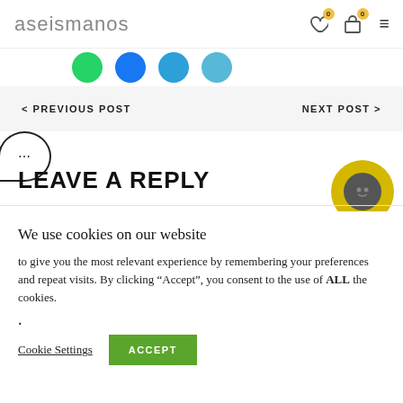aseismanos
[Figure (illustration): Social share icons row: green, blue, blue, light-blue circular buttons]
< PREVIOUS POST    NEXT POST >
[Figure (illustration): Chat bubble with three dots (ellipsis)]
LEAVE A REPLY
[Figure (illustration): Yellow circular chat widget icon with dark smiley face]
We use cookies on our website
to give you the most relevant experience by remembering your preferences and repeat visits. By clicking “Accept”, you consent to the use of ALL the cookies.
.
Cookie Settings    ACCEPT